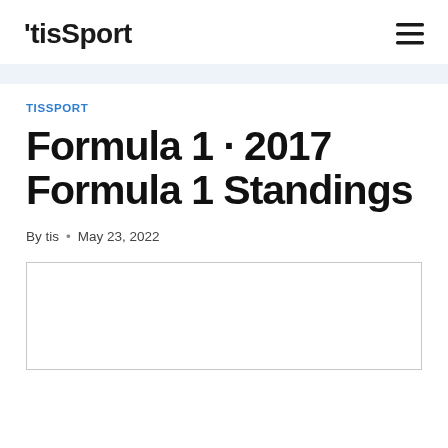'tisSport
TISSPORT
Formula 1 · 2017 Formula 1 Standings
By tis • May 23, 2022
[Figure (other): Advertisement or embedded content box, white rectangle with border]